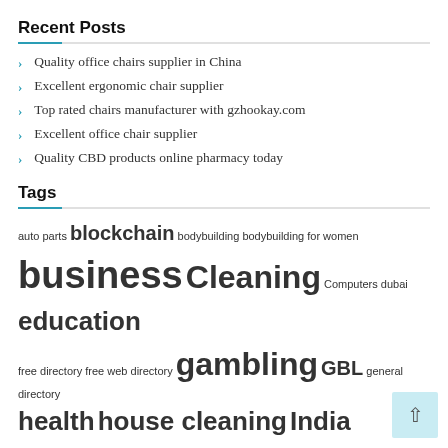Recent Posts
Quality office chairs supplier in China
Excellent ergonomic chair supplier
Top rated chairs manufacturer with gzhookay.com
Excellent office chair supplier
Quality CBD products online pharmacy today
Tags
auto parts blockchain bodybuilding bodybuilding for women business Cleaning Computers dubai education free directory free web directory gambling GBL general directory health house cleaning India Indonesia internet marketing Ireland junkyards Logistics maid service movers moving company News Press Release